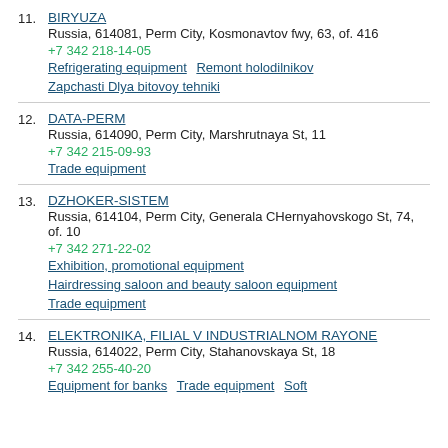11. BIRYUZA
Russia, 614081, Perm City, Kosmonavtov fwy, 63, of. 416
+7 342 218-14-05
Refrigerating equipment  Remont holodilnikov
Zapchasti Dlya bitovoy tehniki
12. DATA-PERM
Russia, 614090, Perm City, Marshrutnaya St, 11
+7 342 215-09-93
Trade equipment
13. DZHOKER-SISTEM
Russia, 614104, Perm City, Generala CHernyahovskogo St, 74, of. 10
+7 342 271-22-02
Exhibition, promotional equipment
Hairdressing saloon and beauty saloon equipment
Trade equipment
14. ELEKTRONIKA, FILIAL V INDUSTRIALNOM RAYONE
Russia, 614022, Perm City, Stahanovskaya St, 18
+7 342 255-40-20
Equipment for banks  Trade equipment  Soft